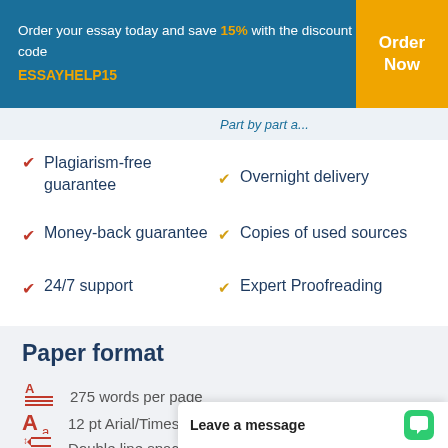Order your essay today and save 15% with the discount code ESSAYHELP15
Part by part a...
Plagiarism-free guarantee
Overnight delivery
Money-back guarantee
Copies of used sources
24/7 support
Expert Proofreading
Paper format
275 words per page
12 pt Arial/Times New Roman
Double line spaci...
Leave a message